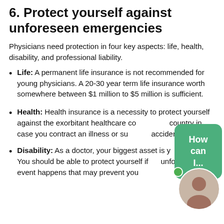6. Protect yourself against unforeseen emergencies
Physicians need protection in four key aspects: life, health, disability, and professional liability.
Life: A permanent life insurance is not recommended for young physicians. A 20-30 year term life insurance worth somewhere between $1 million to $5 million is sufficient.
Health: Health insurance is a necessity to protect yourself against the exorbitant healthcare costs in this country in case you contract an illness or suffer an accident.
Disability: As a doctor, your biggest asset is your body. You should be able to protect yourself if an unforeseen event happens that may prevent you